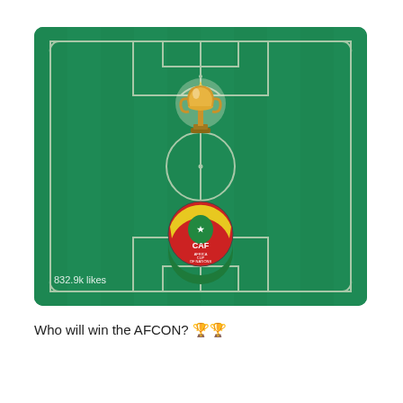[Figure (photo): A football/soccer pitch viewed from above with green turf and white field markings. In the upper center is a gold AFCON (Africa Cup of Nations) trophy. In the lower center is the CAF Africa Cup of Nations badge/logo (red, green, yellow with African continent). Bottom left corner shows '832.9k likes' text overlay.]
Who will win the AFCON? 🏆🏆